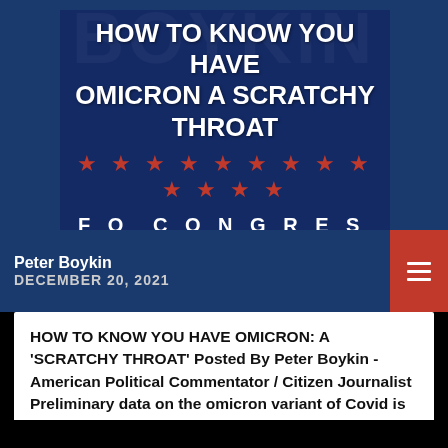[Figure (screenshot): Blue political banner for Peter Boykin for Congress with stars decoration]
HOW TO KNOW YOU HAVE OMICRON A SCRATCHY THROAT
Peter Boykin
DECEMBER 20, 2021
HOW TO KNOW YOU HAVE OMICRON: A 'SCRATCHY THROAT' Posted By Peter Boykin - American Political Commentator / Citizen Journalist  Preliminary data on the omicron variant of Covid is starting to roll in, and one common thread virologists are noticing: many of the people infected have a scratchy throat. Not a sore throat... A [...]